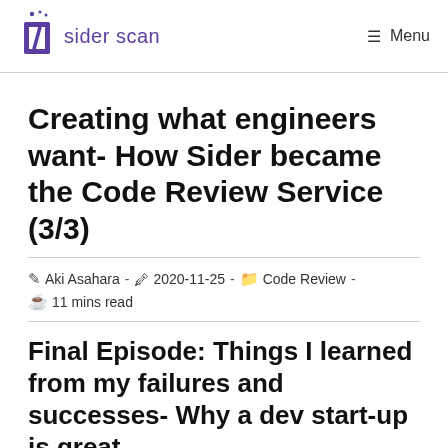sider scan  Menu
Creating what engineers want- How Sider became the Code Review Service (3/3)
Aki Asahara · 2020-11-25 · Code Review · 11 mins read
Final Episode: Things I learned from my failures and successes- Why a dev start-up is great